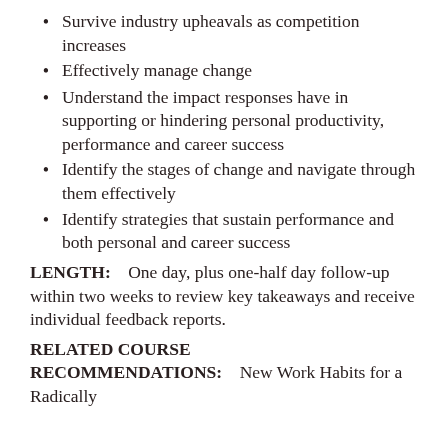Survive industry upheavals as competition increases
Effectively manage change
Understand the impact responses have in supporting or hindering personal productivity, performance and career success
Identify the stages of change and navigate through them effectively
Identify strategies that sustain performance and both personal and career success
LENGTH:    One day, plus one-half day follow-up within two weeks to review key takeaways and receive individual feedback reports.
RELATED COURSE RECOMMENDATIONS:    New Work Habits for a Radically